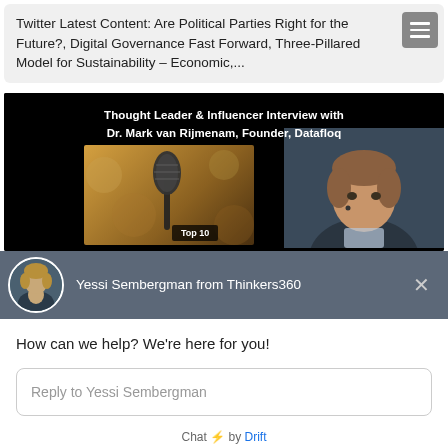Twitter Latest Content: Are Political Parties Right for the Future?, Digital Governance Fast Forward, Three-Pillared Model for Sustainability – Economic,...
[Figure (screenshot): Video thumbnail with black background showing text 'Thought Leader & Influencer Interview with Dr. Mark van Rijmenam, Founder, Datafloq', a microphone image on the left and a speaker on the right, with a 'Top 10' badge at the bottom.]
Yessi Sembergman from Thinkers360
How can we help? We're here for you!
Reply to Yessi Sembergman
Chat ⚡ by Drift